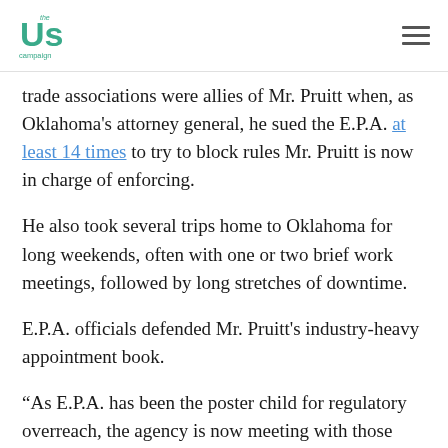The Us Campaign
trade associations were allies of Mr. Pruitt when, as Oklahoma's attorney general, he sued the E.P.A. at least 14 times to try to block rules Mr. Pruitt is now in charge of enforcing.
He also took several trips home to Oklahoma for long weekends, often with one or two brief work meetings, followed by long stretches of downtime.
E.P.A. officials defended Mr. Pruitt's industry-heavy appointment book.
“As E.P.A. has been the poster child for regulatory overreach, the agency is now meeting with those ignored by the Obama administration,” an emailed statement from the agency said, adding